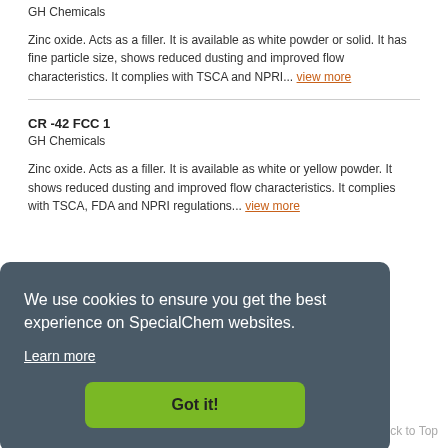GH Chemicals
Zinc oxide. Acts as a filler. It is available as white powder or solid. It has fine particle size, shows reduced dusting and improved flow characteristics. It complies with TSCA and NPRI... view more
CR -42 FCC 1
GH Chemicals
Zinc oxide. Acts as a filler. It is available as white or yellow powder. It shows reduced dusting and improved flow characteristics. It complies with TSCA, FDA and NPRI regulations... view more
We use cookies to ensure you get the best experience on SpecialChem websites.
Learn more
Got it!